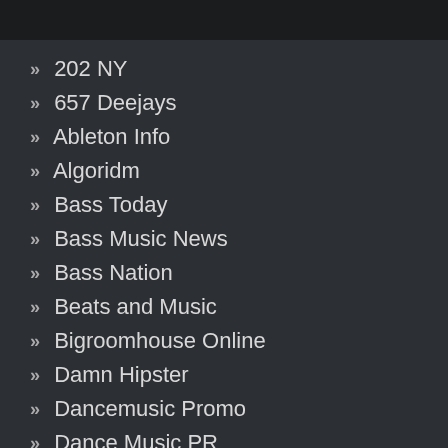202 NY
657 Deejays
Ableton Info
Algoridm
Bass Today
Bass Music News
Bass Nation
Beats and Music
Bigroomhouse Online
Damn Hipster
Dancemusic Promo
Dance Music PR
Deephouse Life
EDM Gossip
DJ Meme